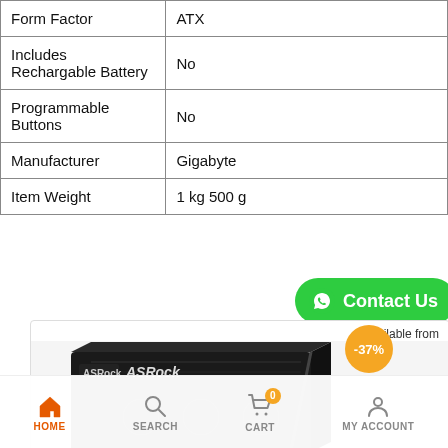| Property | Value |
| --- | --- |
| Form Factor | ATX |
| Includes Rechargable Battery | No |
| Programmable Buttons | No |
| Manufacturer | Gigabyte |
| Item Weight | 1 kg 500 g |
[Figure (screenshot): Green 'Contact Us' button with WhatsApp icon on right side]
[Figure (screenshot): Product card showing 'Available from' text, -37% orange discount badge, and ASRock GPU box image]
[Figure (screenshot): Bottom navigation bar with HOME (active/orange), SEARCH, CART (with 0 badge), MY ACCOUNT icons]